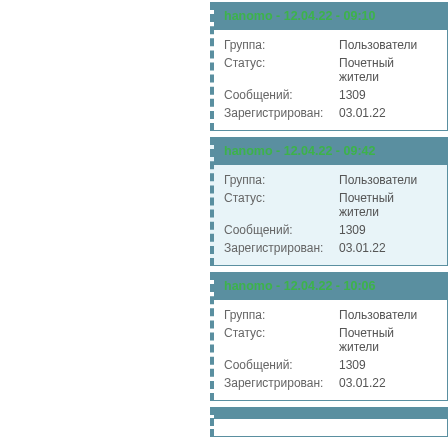| Field | Value |
| --- | --- |
| hanomo - 12.04.22 - 09:10 |  |
| Группа: | Пользователи |
| Статус: | Почетный жители |
| Сообщений: | 1309 |
| Зарегистрирован: | 03.01.22 |
| Field | Value |
| --- | --- |
| hanomo - 12.04.22 - 09:42 |  |
| Группа: | Пользователи |
| Статус: | Почетный жители |
| Сообщений: | 1309 |
| Зарегистрирован: | 03.01.22 |
| Field | Value |
| --- | --- |
| hanomo - 12.04.22 - 10:06 |  |
| Группа: | Пользователи |
| Статус: | Почетный жители |
| Сообщений: | 1309 |
| Зарегистрирован: | 03.01.22 |